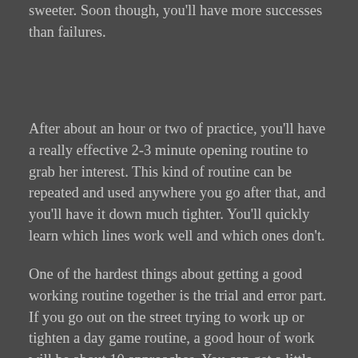sweeter. Soon though, you'll have more successes than failures.
After about an hour or two of practice, you'll have a really effective 2-3 minute opening routine to grab her interest. This kind of routine can be repeated and used anywhere you go after that, and you'll have it down much tighter. You'll quickly learn which lines work well and which ones don't.
One of the hardest things about getting a good working routine together is the trial and error part. If you go out on the street trying to work up or tighten a day game routine, a good hour of work will be about 10 approaches. You can get a little bit of feedback from each new approach and figure out what works well for you. If you do this three or four times, you'll have a pretty